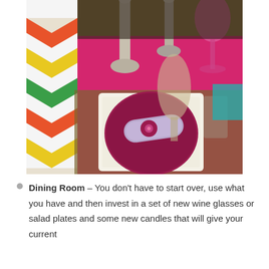[Figure (photo): A colorfully decorated dining table setting with a burgundy/magenta charger plate, a rolled lavender napkin with a floral ring, crystal and metallic glassware, tall silver candlesticks, bright pink/magenta tablecloth, and a chevron-patterned element on the left.]
Dining Room – You don't have to start over, use what you have and then invest in a set of new wine glasses or salad plates and some new candles that will give your current